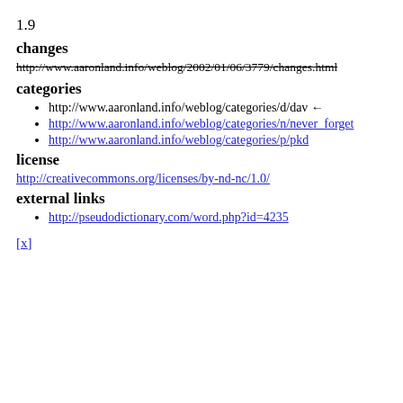1.9
changes
http://www.aaronland.info/weblog/2002/01/06/3779/changes.html (strikethrough)
categories
http://www.aaronland.info/weblog/categories/d/dav ←
http://www.aaronland.info/weblog/categories/n/never_forget
http://www.aaronland.info/weblog/categories/p/pkd
license
http://creativecommons.org/licenses/by-nd-nc/1.0/
external links
http://pseudodictionary.com/word.php?id=4235
[x]